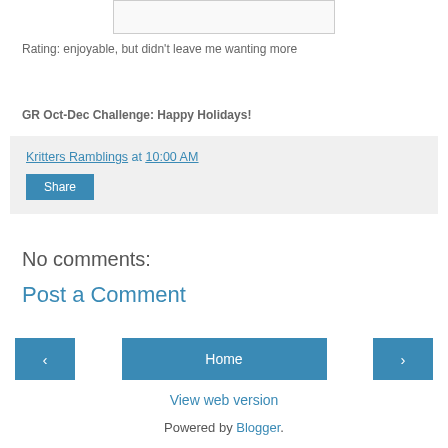[Figure (other): Book cover image placeholder]
Rating: enjoyable, but didn't leave me wanting more
GR Oct-Dec Challenge: Happy Holidays!
Kritters Ramblings at 10:00 AM
Share
No comments:
Post a Comment
‹
Home
›
View web version
Powered by Blogger.